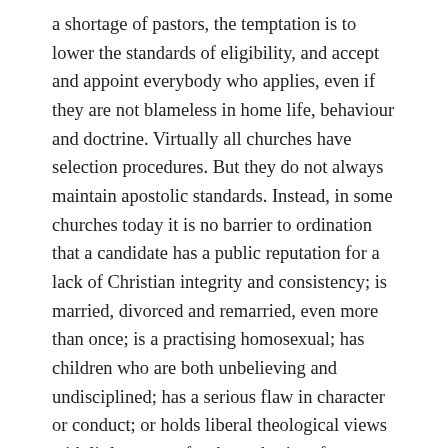a shortage of pastors, the temptation is to lower the standards of eligibility, and accept and appoint everybody who applies, even if they are not blameless in home life, behaviour and doctrine. Virtually all churches have selection procedures. But they do not always maintain apostolic standards. Instead, in some churches today it is no barrier to ordination that a candidate has a public reputation for a lack of Christian integrity and consistency; is married, divorced and remarried, even more than once; is a practising homosexual; has children who are both unbelieving and undisciplined; has a serious flaw in character or conduct; or holds liberal theological views with little respect for the authority of Scripture. It is something of a scandal that, in defiance of the apostle's teaching, such persons are recommended and accepted for ordination.
So let us do what we can to copy Paul's strategy and maintain Paul's standards. The church would be in a far healthier condition if we did.